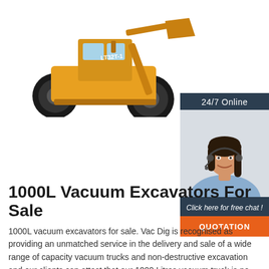[Figure (photo): Yellow LT32T-1 wheel loader / front-end loader against white background, viewed from the front-left angle showing large black tires and raised bucket arm.]
[Figure (photo): Customer service representative woman with headset smiling, with dark navy background panel showing '24/7 Online' text, 'Click here for free chat!' text in italic white, and an orange QUOTATION button below.]
1000L Vacuum Excavators For Sale
1000L vacuum excavators for sale. Vac Dig is recognised as providing an unmatched service in the delivery and sale of a wide range of capacity vacuum trucks and non-destructive excavation and our clients can attest that our 1000 Litres vacuum truck is no exception to this